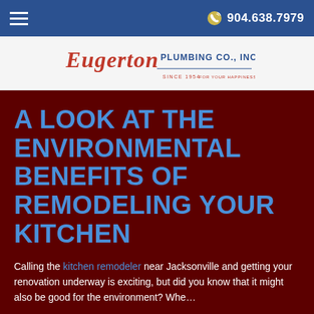≡   904.638.7979
[Figure (logo): Eugerton Plumbing Co., Inc. logo — cursive red Eugerton text with PLUMBING CO., INC. in blue, SINCE 1954 tagline below]
A LOOK AT THE ENVIRONMENTAL BENEFITS OF REMODELING YOUR KITCHEN
Calling the kitchen remodeler near Jacksonville and getting your renovation underway is exciting, but did you know that it might also be good for the environment? Whe…